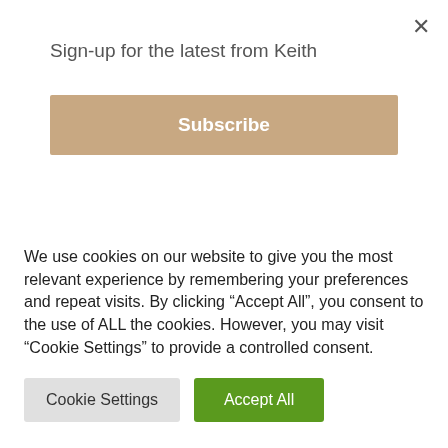×
Sign-up for the latest from Keith
Subscribe
Terms & Conditions    Privacy Policy    FAQ's
Wholesale Enquiries    Contact    Newsletter
We use cookies on our website to give you the most relevant experience by remembering your preferences and repeat visits. By clicking "Accept All", you consent to the use of ALL the cookies. However, you may visit "Cookie Settings" to provide a controlled consent.
Cookie Settings
Accept All